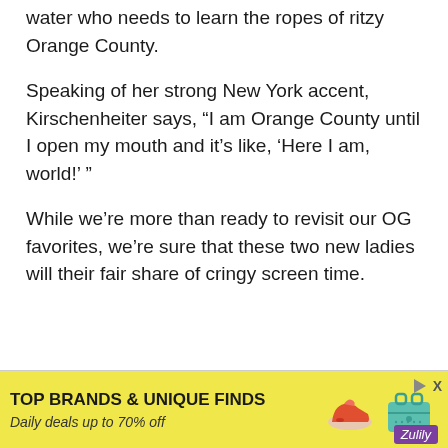water who needs to learn the ropes of ritzy Orange County.
Speaking of her strong New York accent, Kirschenheiter says, “I am Orange County until I open my mouth and it’s like, ‘Here I am, world!’ ”
While we’re more than ready to revisit our OG favorites, we’re sure that these two new ladies will their fair share of cringy screen time.
[Figure (other): Advertisement banner: yellow background with text 'TOP BRANDS & UNIQUE FINDS' and 'Daily deals up to 70% off', images of shoes and a handbag, Zulily branding]